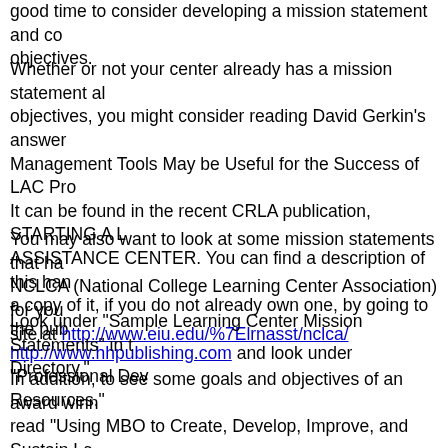good time to consider developing a mission statement and core objectives.
Whether or not your center already has a mission statement and objectives, you might consider reading David Gerkin's answer to "What Management Tools May be Useful for the Success of LAC Programs?" It can be found in the recent CRLA publication, STARTING A LEARNING ASSISTANCE CENTER. You can find a description of this handbook and a copy of it, if you do not already own one, by going to the publisher's site at http://www.hhpublishing.com and look under "Professional Development Resources."
You may also want to look at some mission statements that have been submitted to NCLCA (National College Learning Center Association) for your learning center site at http://www.eiu.edu/%7Elrnasst/nclca/
Look under "Sample Learning Center Mission Statements" in the Member Directory.
In addition, to see some goals and objectives of an award winning program, read "Using MBO to Create, Develop, Improve, and Sustain Learning Support Programs" at http://www.pvc.maricopa.edu/~lsche/proceedings/967_proc/967proc of the many full text articles available online in LSCHE, your learning center web portal whose URL is http://www.pvc.maricopa.edu/~lsche/